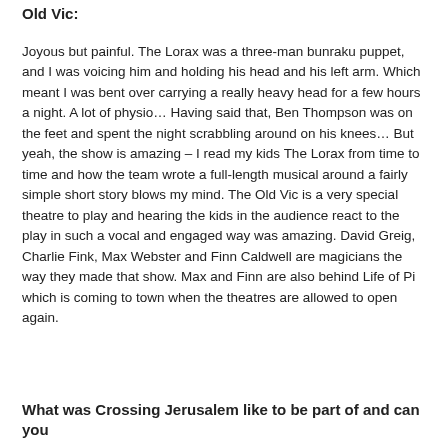Old Vic:
Joyous but painful. The Lorax was a three-man bunraku puppet, and I was voicing him and holding his head and his left arm. Which meant I was bent over carrying a really heavy head for a few hours a night. A lot of physio… Having said that, Ben Thompson was on the feet and spent the night scrabbling around on his knees… But yeah, the show is amazing – I read my kids The Lorax from time to time and how the team wrote a full-length musical around a fairly simple short story blows my mind. The Old Vic is a very special theatre to play and hearing the kids in the audience react to the play in such a vocal and engaged way was amazing. David Greig, Charlie Fink, Max Webster and Finn Caldwell are magicians the way they made that show. Max and Finn are also behind Life of Pi which is coming to town when the theatres are allowed to open again.
What was Crossing Jerusalem like to be part of and can you